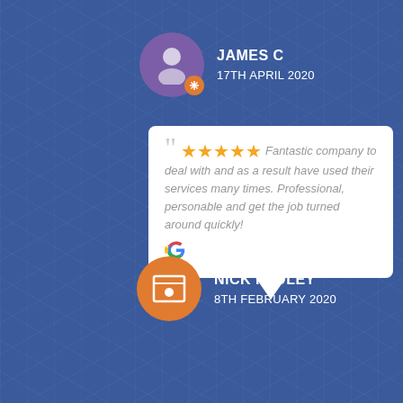JAMES C
17TH APRIL 2020
"Fantastic company to deal with and as a result have used their services many times. Professional, personable and get the job turned around quickly!
NICK PADLEY
8TH FEBRUARY 2020